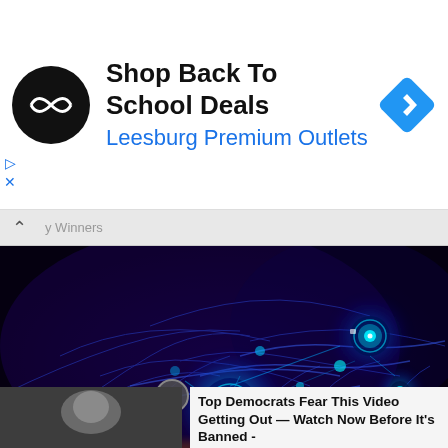[Figure (screenshot): Advertisement banner: Shop Back To School Deals - Leesburg Premium Outlets with black circular logo and blue diamond navigation icon]
[Figure (photo): Dark blue/purple digital illustration of glowing neuron cells with bright cyan/blue synaptic connections against a dark background]
[Figure (screenshot): Bottom overlay ad showing a video thumbnail of a woman (Hillary Clinton) with a play button circle, and text: Top Democrats Fear This Video Getting Out — Watch Now Before It's Banned - Ad]